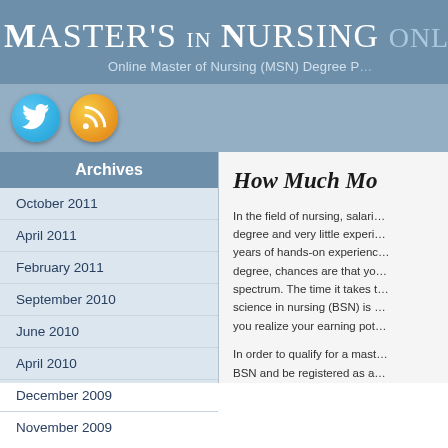Master's in Nursing Online — Online Master of Nursing (MSN) Degree Programs
[Figure (logo): Twitter bird icon (blue circle) and RSS feed icon (orange circle) in the navigation icon bar]
Archives
October 2011
April 2011
February 2011
September 2010
June 2010
April 2010
December 2009
November 2009
How Much Mo…
In the field of nursing, salaries… degree and very little experi… years of hands-on experience… degree, chances are that yo… spectrum. The time it takes … science in nursing (BSN) is … you realize your earning pot…
In order to qualify for a mast… BSN and be registered as a… nurse practitioner, or ARNP.… field, as hospitals, private pr…